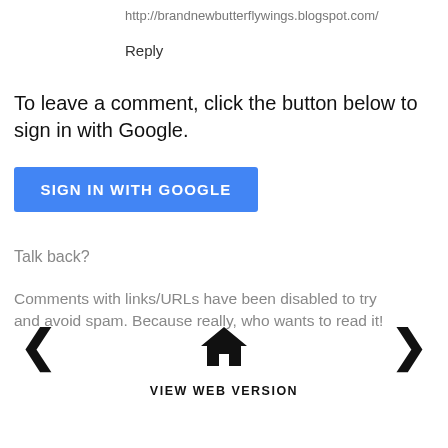http://brandnewbutterflywings.blogspot.com/
Reply
To leave a comment, click the button below to sign in with Google.
[Figure (other): Blue button labeled SIGN IN WITH GOOGLE]
Talk back?
Comments with links/URLs have been disabled to try and avoid spam. Because really, who wants to read it!
[Figure (other): Navigation bar with left arrow, home icon, and right arrow; VIEW WEB VERSION label below]